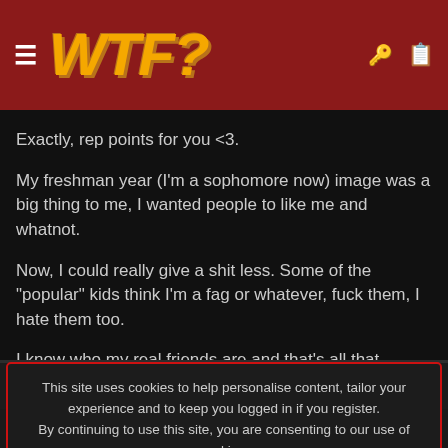WTF? (logo with hamburger menu and icons)
Exactly, rep points for you <3.

My freshman year (I'm a sophomore now) image was a big thing to me, I wanted people to like me and whatnot.

Now, I could really give a shit less. Some of the "popular" kids think I'm a fag or whatever, fuck them, I hate them too.

I know who my real friends are and that's all that matters.
ODDDLY
This site uses cookies to help personalise content, tailor your experience and to keep you logged in if you register.
By continuing to use this site, you are consenting to our use of cookies.